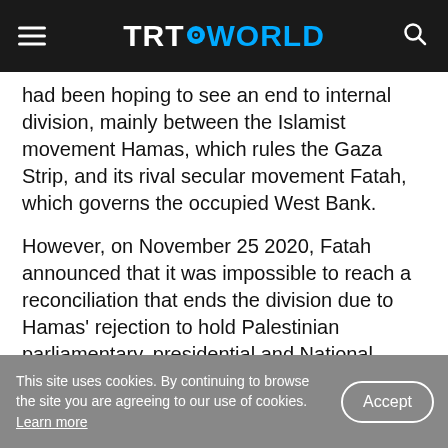TRT WORLD
had been hoping to see an end to internal division, mainly between the Islamist movement Hamas, which rules the Gaza Strip, and its rival secular movement Fatah, which governs the occupied West Bank.
However, on November 25 2020, Fatah announced that it was impossible to reach a reconciliation that ends the division due to Hamas' rejection to hold Palestinian parliamentary, presidential and National Council elections consecutively.
This site uses cookies. By continuing to browse the site you are agreeing to our use of cookies. Learn more